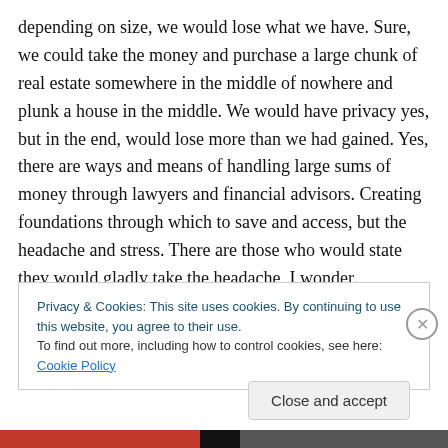depending on size, we would lose what we have. Sure, we could take the money and purchase a large chunk of real estate somewhere in the middle of nowhere and plunk a house in the middle. We would have privacy yes, but in the end, would lose more than we had gained. Yes, there are ways and means of handling large sums of money through lawyers and financial advisors. Creating foundations through which to save and access, but the headache and stress. There are those who would state they would gladly take the headache, I wonder.
Privacy & Cookies: This site uses cookies. By continuing to use this website, you agree to their use.
To find out more, including how to control cookies, see here: Cookie Policy
Close and accept